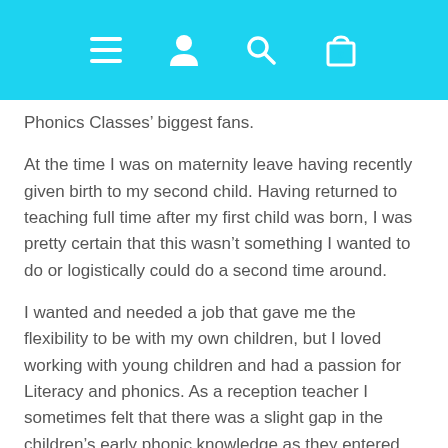Navigation bar with menu, user, search, and cart (0) icons
Phonics Classes' biggest fans.
At the time I was on maternity leave having recently given birth to my second child. Having returned to teaching full time after my first child was born, I was pretty certain that this wasn't something I wanted to do or logistically could do a second time around.
I wanted and needed a job that gave me the flexibility to be with my own children, but I loved working with young children and had a passion for Literacy and phonics. As a reception teacher I sometimes felt that there was a slight gap in the children's early phonic knowledge as they entered school, and these needed to be taught prior to